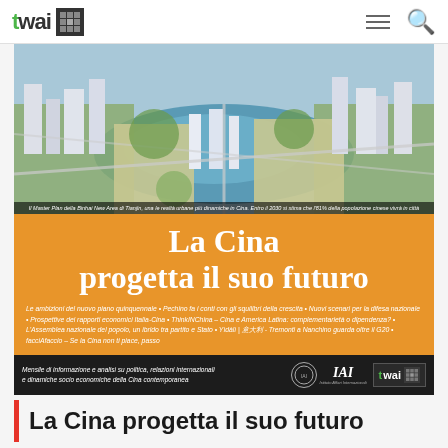twai
[Figure (photo): Aerial view of a modern Chinese city development master plan, showing a river and urban area with skyscrapers and green spaces. Caption: Il Master Plan della Binhai New Area di Tianjin, una le realtà urbane più dinamiche in Cina. Entro il 2030 si stima che l'81% della popolazione cinese vivrà in città]
La Cina progetta il suo futuro
Le ambizioni del nuovo piano quinquennale • Pechino fa i conti con gli squilibri della crescita • Nuovi scenari per la difesa nazionale • Prospettive dei rapporti economici Italia-Cina • ThinkINChina – Cina e America Latina: complementarietà o dipendenza? • L'Assemblea nazionale del popolo, un ibrido tra partito e Stato • Yìdàlì | 意大利 - Tremonti a Nanchino guarda oltre il G20 • facciAfaccio – Se la Cina non ti piace, passo
Mensile di informazione e analisi su politica, relazioni internazionali e dinamiche socio economiche della Cina contemporanea
La Cina progetta il suo futuro